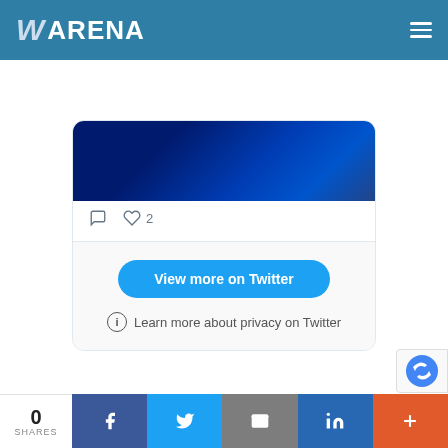WARENA
[Figure (screenshot): Twitter embed widget showing a tweet image (dark blue gradient), comment and heart (2 likes) icons, a 'View more on Twitter' button, and a 'Learn more about privacy on Twitter' link with info icon]
[Figure (other): Partial reCAPTCHA badge visible at bottom-right]
0 SHARES
[Figure (infographic): Social share bar with Facebook, Twitter, email, LinkedIn, and plus buttons]